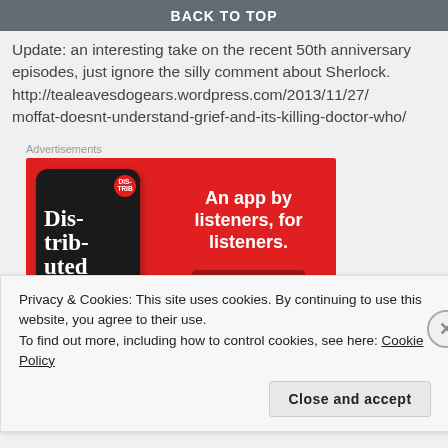BACK TO TOP
Update: an interesting take on the recent 50th anniversary episodes, just ignore the silly comment about Sherlock. http://tealeavesdogears.wordpress.com/2013/11/27/moffat-doesnt-understand-grief-and-its-killing-doctor-who/
Advertisements
[Figure (photo): Advertisement banner for a podcast app: red background with a smartphone showing 'Distributed' podcast app, text reads 'An app by listeners, for listeners.' with a 'Download now' button.]
Privacy & Cookies: This site uses cookies. By continuing to use this website, you agree to their use.
To find out more, including how to control cookies, see here: Cookie Policy
Close and accept